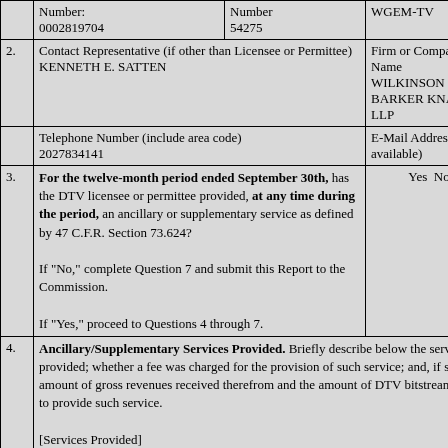| Number:
0002819704 | Number
54275 | WGEM-TV |
| Contact Representative (if other than Licensee or Permittee)
KENNETH E. SATTEN | Firm or Company Name
WILKINSON BARKER KNAUER, LLP |  |
| Telephone Number (include area code)
2027834141 | E-Mail Address (if available) |  |
| For the twelve-month period ended September 30th, has the DTV licensee or permittee provided, at any time during the period, an ancillary or supplementary service as defined by 47 C.F.R. Section 73.624?

If "No," complete Question 7 and submit this Report to the Commission.

If "Yes," proceed to Questions 4 through 7. | Yes  No |
| Ancillary/Supplementary Services Provided. Briefly describe below the service provided; whether a fee was charged for the provision of such service; and, if so, the amount of gross revenues received therefrom and the amount of DTV bitstream used to provide such service.

[Services Provided] |  |
| Total amount of gross revenues derived from feeable ancillary or supplementary services: | $ |